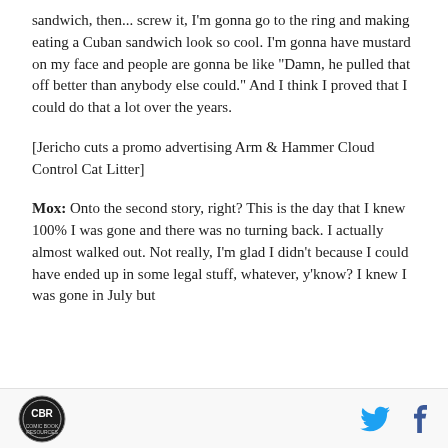sandwich, then... screw it, I'm gonna go to the ring and making eating a Cuban sandwich look so cool. I'm gonna have mustard on my face and people are gonna be like "Damn, he pulled that off better than anybody else could." And I think I proved that I could do that a lot over the years.
[Jericho cuts a promo advertising Arm & Hammer Cloud Control Cat Litter]
Mox: Onto the second story, right? This is the day that I knew 100% I was gone and there was no turning back. I actually almost walked out. Not really, I'm glad I didn't because I could have ended up in some legal stuff, whatever, y'know? I knew I was gone in July but
CBR logo, Twitter icon, Facebook icon